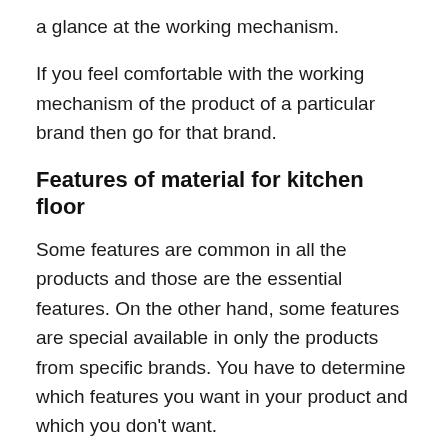a glance at the working mechanism.
If you feel comfortable with the working mechanism of the product of a particular brand then go for that brand.
Features of material for kitchen floor
Some features are common in all the products and those are the essential features. On the other hand, some features are special available in only the products from specific brands. You have to determine which features you want in your product and which you don't want.
Price